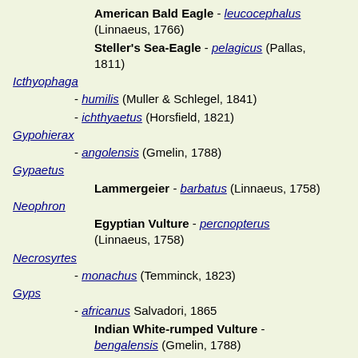American Bald Eagle - leucocephalus (Linnaeus, 1766)
Steller's Sea-Eagle - pelagicus (Pallas, 1811)
Icthyophaga
- humilis (Muller & Schlegel, 1841)
- ichthyaetus (Horsfield, 1821)
Gypohierax
- angolensis (Gmelin, 1788)
Gypaetus
Lammergeier - barbatus (Linnaeus, 1758)
Neophron
Egyptian Vulture - percnopterus (Linnaeus, 1758)
Necrosyrtes
- monachus (Temminck, 1823)
Gyps
- africanus Salvadori, 1865
Indian White-rumped Vulture - bengalensis (Gmelin, 1788)
- indicus (Scopoli, 1786)
- tenuirostris Gray, 1844
Rüppell's Vulture - rueppellii (Brehm, 1852)
Himalayan Griffon - himalayensis Hume,